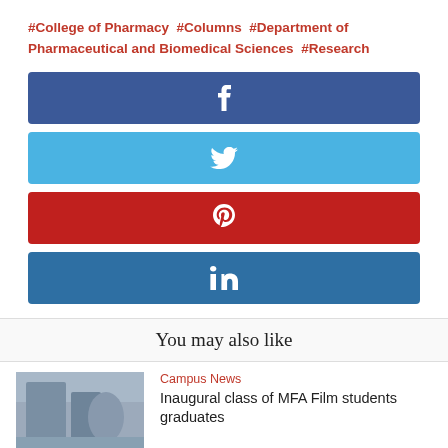#College of Pharmacy  #Columns  #Department of Pharmaceutical and Biomedical Sciences  #Research
[Figure (infographic): Facebook share button (dark blue)]
[Figure (infographic): Twitter share button (light blue)]
[Figure (infographic): Pinterest share button (red)]
[Figure (infographic): LinkedIn share button (medium blue)]
You may also like
[Figure (photo): Photo of film students working in a studio/classroom setting]
Campus News
Inaugural class of MFA Film students graduates
[Figure (photo): Second related article photo (partially visible at bottom)]